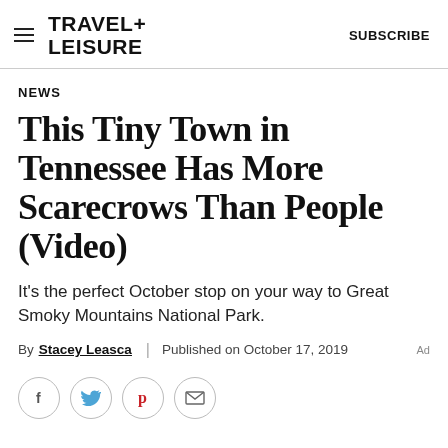TRAVEL+ LEISURE   SUBSCRIBE
NEWS
This Tiny Town in Tennessee Has More Scarecrows Than People (Video)
It's the perfect October stop on your way to Great Smoky Mountains National Park.
By Stacey Leasca | Published on October 17, 2019
[Figure (other): Social sharing buttons: Facebook, Twitter, Pinterest, Email]